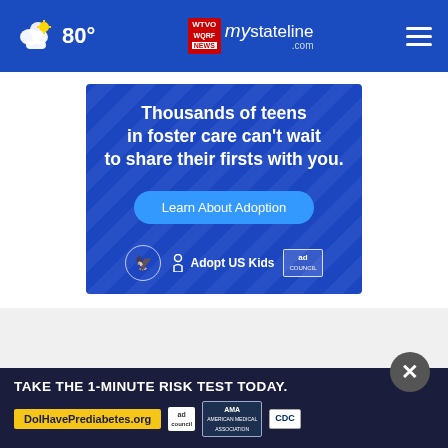80° | mystateline.com
[Figure (infographic): Adopt US Kids advertisement: 'Thousands of teens in foster care can't wait to share their firsts with you.' with a 'Learn About Adoption' button and logos for HHS, AdoptUSKids, and Ad Council]
[Figure (infographic): Prediabetes awareness ad: 'TAKE THE 1-MINUTE RISK TEST TODAY.' with URL DoIHavePrediabetes.org and logos for Ad Council, AMA, and CDC]